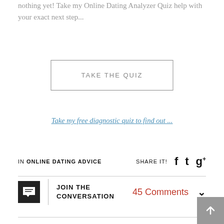nothing yet! Take my Online Dating Analyzer Quiz help with your exact next step...
[Figure (other): Button with border labeled TAKE THE QUIZ]
Take my free diagnostic quiz to find out ...
IN ONLINE DATING ADVICE   SHARE IT!   [Facebook icon]   [Twitter icon]   [Google+ icon]
JOIN THE CONVERSATION   45 Comments   [chevron]